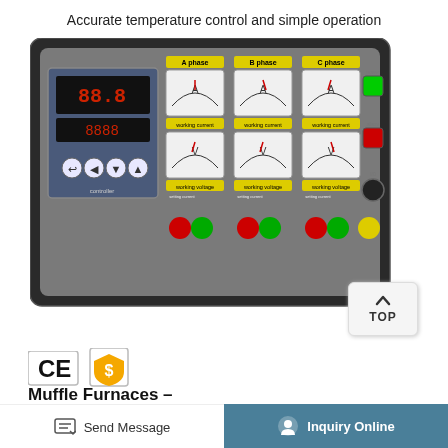Accurate temperature control and simple operation
[Figure (photo): Industrial control panel for a three-phase furnace system, showing six analog meters (A phase, B phase, C phase working current and working voltage), a digital temperature controller with LED display and navigation buttons, green and red indicator/control buttons, and a yellow emergency stop button. Labels include working current and working voltage for each phase.]
[Figure (logo): CE certification mark and gold supplier badge icons]
Muffle Furnaces –
The furnace is ideal for ashing most types of organic and inorganic samples, heat treating
Send Message   Inquiry Online